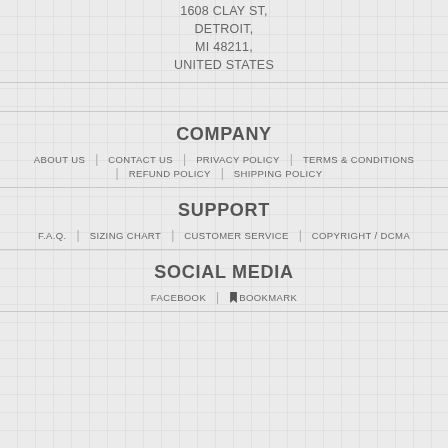1608 CLAY ST, DETROIT, MI 48211, UNITED STATES
COMPANY
ABOUT US
CONTACT US
PRIVACY POLICY
TERMS & CONDITIONS
REFUND POLICY
SHIPPING POLICY
SUPPORT
F.A.Q.
SIZING CHART
CUSTOMER SERVICE
COPYRIGHT / DCMA
SOCIAL MEDIA
FACEBOOK
BOOKMARK